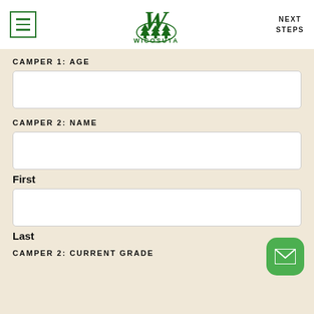[Figure (logo): Camp Wicosuta logo with stylized W and pine trees, text WICOSUTA below]
NEXT STEPS
CAMPER 1: AGE
[Figure (other): Empty white input box for Camper 1 age]
CAMPER 2: NAME
[Figure (other): Empty white input box for Camper 2 first name]
First
[Figure (other): Empty white input box for Camper 2 last name]
Last
CAMPER 2: CURRENT GRADE
[Figure (other): Green rounded mail/envelope button in bottom right corner]